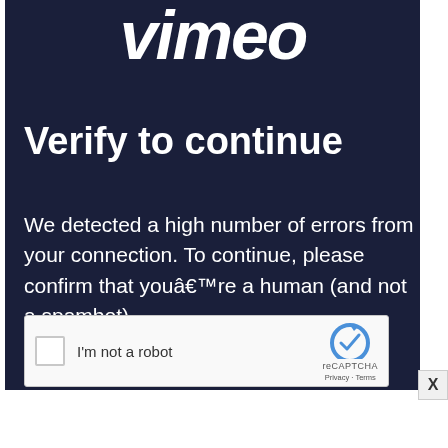[Figure (logo): Vimeo logo in white italic bold text on dark navy background]
Verify to continue
We detected a high number of errors from your connection. To continue, please confirm that youâ€™re a human (and not a spambot).
[Figure (screenshot): reCAPTCHA widget with checkbox labeled 'I'm not a robot' and reCAPTCHA logo with Privacy and Terms links]